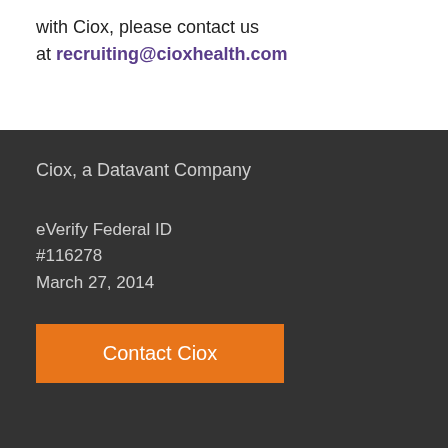with Ciox, please contact us at recruiting@cioxhealth.com
Ciox, a Datavant Company
eVerify Federal ID #116278 March 27, 2014
Contact Ciox